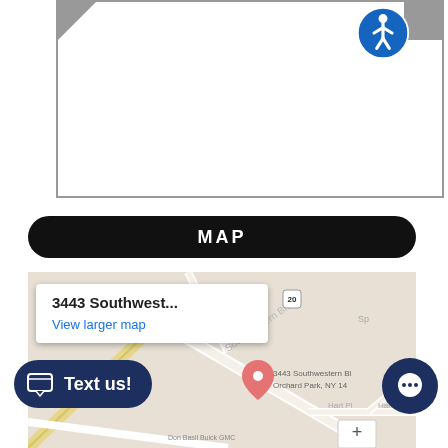[Figure (screenshot): Top portion of a map/navigation interface showing a white placeholder area with gray border and diagonal corner indicators, with a blue accessibility icon in the top right corner]
MAP
[Figure (map): Google Maps embed showing 3443 Southwestern Blvd, Orchard Park, NY 14127 with a popup showing '3443 Southwest...' and 'View larger map' link, a red location pin marker, and street names including Southwestern Blvd, Hart Pl]
Text us!
[Figure (screenshot): Dark navy chat bubble icon button in bottom right corner]